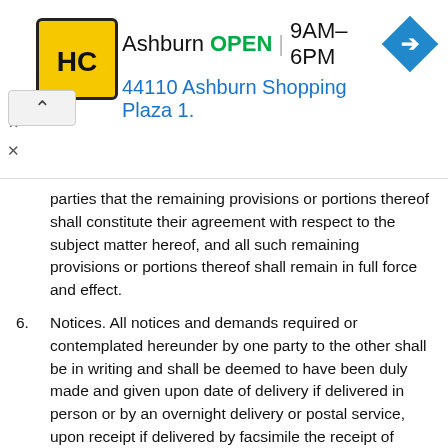[Figure (logo): HC Plumbing logo with yellow background and black border, showing HC in stylized text]
Ashburn OPEN | 9AM–6PM
44110 Ashburn Shopping Plaza 1.
parties that the remaining provisions or portions thereof shall constitute their agreement with respect to the subject matter hereof, and all such remaining provisions or portions thereof shall remain in full force and effect.
6. Notices. All notices and demands required or contemplated hereunder by one party to the other shall be in writing and shall be deemed to have been duly made and given upon date of delivery if delivered in person or by an overnight delivery or postal service, upon receipt if delivered by facsimile the receipt of which is confirmed by the recipient, or upon the expiration of five days after the date of posting if mailed by certified mail, postage prepaid, to the addresses or facsimile numbers set forth below the parties' signatures. Either party may change its address or facsimile number for purposes of this Agreement by notice in writing to